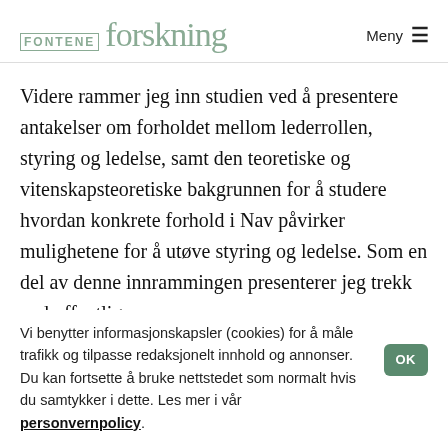FONTENE forskning | Meny
Videre rammer jeg inn studien ved å presentere antakelser om forholdet mellom lederrollen, styring og ledelse, samt den teoretiske og vitenskapsteoretiske bakgrunnen for å studere hvordan konkrete forhold i Nav påvirker mulighetene for å utøve styring og ledelse. Som en del av denne innrammingen presenterer jeg trekk ved offentlige
Vi benytter informasjonskapsler (cookies) for å måle trafikk og tilpasse redaksjonelt innhold og annonser. Du kan fortsette å bruke nettstedet som normalt hvis du samtykker i dette. Les mer i vår personvernpolicy.